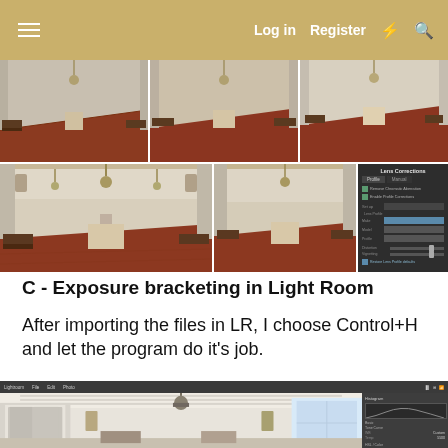Log in  Register
[Figure (photo): Grid of 5 photos showing ornate chapel/hall interior with terracotta floor, wooden benches, chandeliers, and decorated ceiling; plus a Lens Corrections panel screenshot]
C - Exposure bracketing in Light Room
After importing the files in LR, I choose Control+H and let the program do it's job.
[Figure (screenshot): Screenshot of Lightroom application showing interior room with white ceiling, door, chandelier, and furniture, with a panel open on the right side]